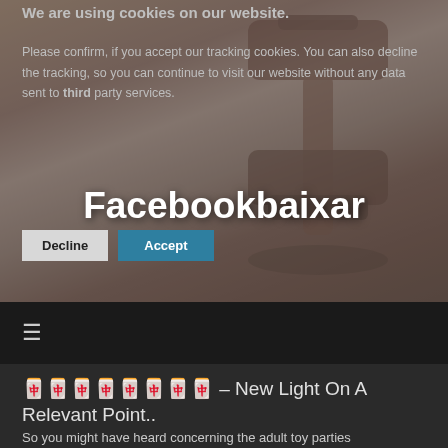We are using cookies on our website.
Please confirm, if you accept our tracking cookies. You can also decline the tracking, so you can continue to visit our website without any data sent to third party services.
Decline | Accept
Facebookbaixar
[Figure (screenshot): Navigation bar with hamburger menu icon]
🀫🀫🀫🀫🀫🀫🀫🀫 – New Light On A Relevant Point..
So you might have heard concerning the adult toy parties